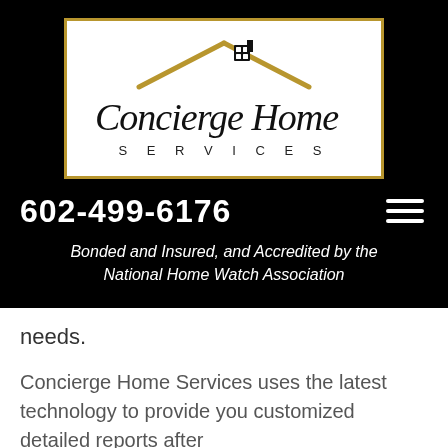[Figure (logo): Concierge Home Services logo: gold roof/house icon above cursive 'Concierge Home' script text and 'SERVICES' in spaced caps, inside a gold-bordered white rectangle on black background]
602-499-6176
Bonded and Insured, and Accredited by the National Home Watch Association
needs.
Concierge Home Services uses the latest technology to provide you customized detailed reports after